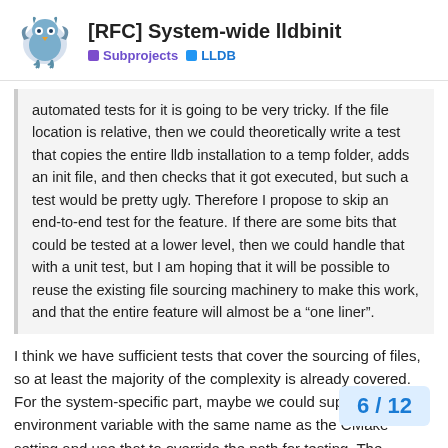[RFC] System-wide lldbinit — Subprojects | LLDB
automated tests for it is going to be very tricky. If the file location is relative, then we could theoretically write a test that copies the entire lldb installation to a temp folder, adds an init file, and then checks that it got executed, but such a test would be pretty ugly. Therefore I propose to skip an end-to-end test for the feature. If there are some bits that could be tested at a lower level, then we could handle that with a unit test, but I am hoping that it will be possible to reuse the existing file sourcing machinery to make this work, and that the entire feature will almost be a “one liner”.
I think we have sufficient tests that cover the sourcing of files, so at least the majority of the complexity is already covered. For the system-specific part, maybe we could support an environment variable with the same name as the CMake setting and use that to override the path for testing. The existing tests do something similar by changing $HOME.
I’m not sure how much value this would ac
6 / 12